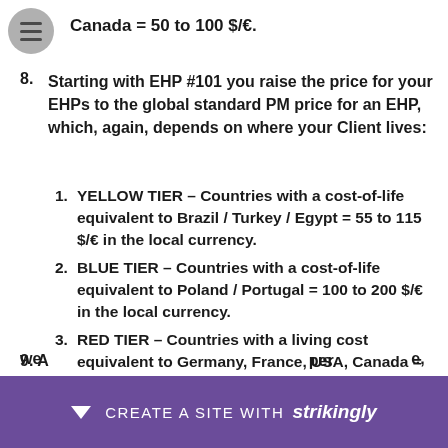Canada = 50 to 100 $/€.
8. Starting with EHP #101 you raise the price for your EHPs to the global standard PM price for an EHP, which, again, depends on where your Client lives:
1. YELLOW TIER – Countries with a cost-of-life equivalent to Brazil / Turkey / Egypt = 55 to 115 $/€ in the local currency.
2. BLUE TIER – Countries with a cost-of-life equivalent to Poland / Portugal = 100 to 200 $/€ in the local currency.
3. RED TIER – Countries with a living cost equivalent to Germany, France, USA, Canada = 150 to 300 $/€
9. A ... per we... e,
CREATE A SITE WITH strikingly